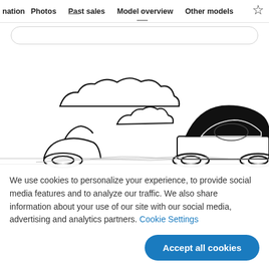nation  Photos  Past sales  Model overview  Other models
[Figure (illustration): Line-art illustration of a car partially submerged or parked near water with clouds in the background, showing a minimalist black-and-white drawing of a car's roofline and clouds above.]
We use cookies to personalize your experience, to provide social media features and to analyze our traffic. We also share information about your use of our site with our social media, advertising and analytics partners. Cookie Settings
Accept all cookies